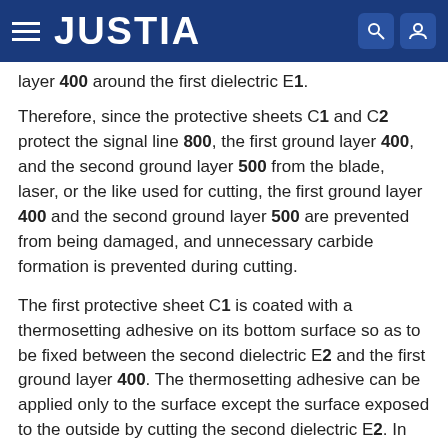JUSTIA
layer 400 around the first dielectric E1.
Therefore, since the protective sheets C1 and C2 protect the signal line 800, the first ground layer 400, and the second ground layer 500 from the blade, laser, or the like used for cutting, the first ground layer 400 and the second ground layer 500 are prevented from being damaged, and unnecessary carbide formation is prevented during cutting.
The first protective sheet C1 is coated with a thermosetting adhesive on its bottom surface so as to be fixed between the second dielectric E2 and the first ground layer 400. The thermosetting adhesive can be applied only to the surface except the surface exposed to the outside by cutting the second dielectric E2. In addition, the first bonding sheet B1 may be extended on the upper surface of the first protective sheet C1 so that